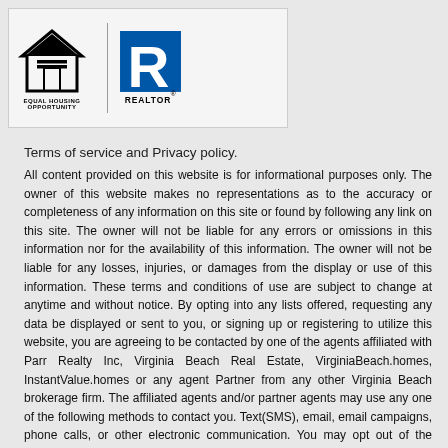[Figure (logo): Equal Housing Opportunity logo and REALTOR logo side by side in a white box]
Terms of service and Privacy policy.
All content provided on this website is for informational purposes only. The owner of this website makes no representations as to the accuracy or completeness of any information on this site or found by following any link on this site. The owner will not be liable for any errors or omissions in this information nor for the availability of this information. The owner will not be liable for any losses, injuries, or damages from the display or use of this information. These terms and conditions of use are subject to change at anytime and without notice. By opting into any lists offered, requesting any data be displayed or sent to you, or signing up or registering to utilize this website, you are agreeing to be contacted by one of the agents affiliated with Parr Realty Inc, Virginia Beach Real Estate, VirginiaBeach.homes, InstantValue.homes or any agent Partner from any other Virginia Beach brokerage firm. The affiliated agents and/or partner agents may use any one of the following methods to contact you. Text(SMS), email, email campaigns, phone calls, or other electronic communication. You may opt out of the program at any time at no cost with an email request. Privacy policy. We will not share, sell, trade, or distribute the information you enter on the